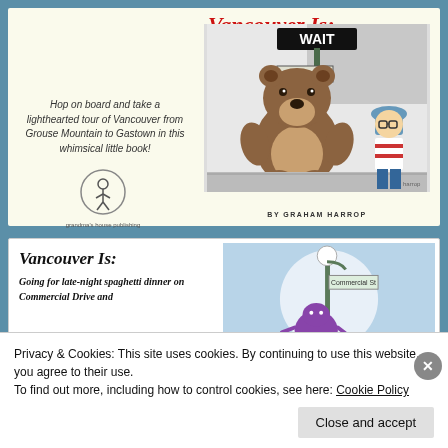Vancouver Is:
Hop on board and take a lighthearted tour of Vancouver from Grouse Mountain to Gastown in this whimsical little book!
[Figure (illustration): Cartoon illustration of a large bear and a small boy with glasses at a crosswalk sign reading WAIT and Robson Street.]
BY GRAHAM HARROP
Vancouver Is:
Going for late-night spaghetti dinner on Commercial Drive and
[Figure (illustration): Cartoon illustration on a blue circle background showing a street sign and a character.]
Privacy & Cookies: This site uses cookies. By continuing to use this website, you agree to their use.
To find out more, including how to control cookies, see here: Cookie Policy
Close and accept